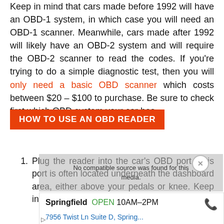Keep in mind that cars made before 1992 will have an OBD-1 system, in which case you will need an OBD-1 scanner. Meanwhile, cars made after 1992 will likely have an OBD-2 system and will require the OBD-2 scanner to read the codes. If you're trying to do a simple diagnostic test, then you will only need a basic OBD scanner which costs between $20 – $100 to purchase. Be sure to check first which OBD system your car has.
HOW TO USE AN OBD READER
Plug the reader into the car's OBD port. This port is often located underneath the dashboard area, either above your pedals or knee. Keep in mind that some
[Figure (screenshot): Advertisement overlay showing a video player message 'No compatible source was found for this media.' and a local business ad for Springfield showing OPEN 10AM–2PM, 7956 Twist Ln Suite D, Spring... with a phone icon, and close/play/dismiss controls.]